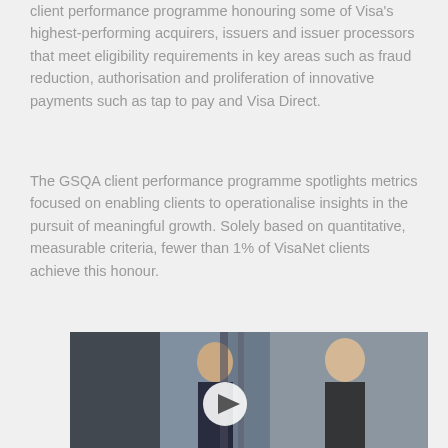client performance programme honouring some of Visa's highest-performing acquirers, issuers and issuer processors that meet eligibility requirements in key areas such as fraud reduction, authorisation and proliferation of innovative payments such as tap to pay and Visa Direct.
The GSQA client performance programme spotlights metrics focused on enabling clients to operationalise insights in the pursuit of meaningful growth. Solely based on quantitative, measurable criteria, fewer than 1% of VisaNet clients achieve this honour.
[Figure (photo): Two business professionals, a woman with glasses and a man in a suit, facing each other in a blurred indoor setting. A white circular play button is overlaid in the center of the image, indicating a video.]